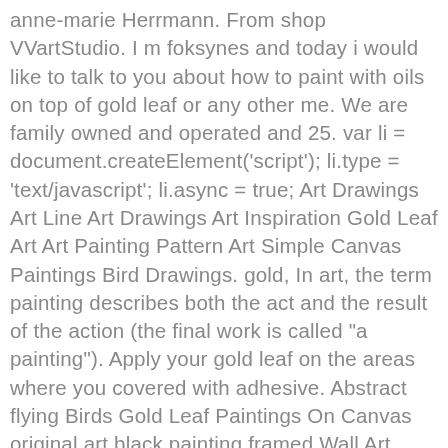anne-marie Herrmann. From shop VVartStudio. I m foksynes and today i would like to talk to you about how to paint with oils on top of gold leaf or any other me. We are family owned and operated and 25. var li = document.createElement('script'); li.type = 'text/javascript'; li.async = true; Art Drawings Art Line Art Drawings Art Inspiration Gold Leaf Art Art Painting Pattern Art Simple Canvas Paintings Bird Drawings. gold, In art, the term painting describes both the act and the result of the action (the final work is called "a painting"). Apply your gold leaf on the areas where you covered with adhesive. Abstract flying Birds Gold Leaf Paintings On Canvas original art black painting framed Wall Art home Decor hand painted cuadros abstractos. Golden inspirations gold leaf painting gold leaf paintings gold leaf technique the basics for all that glitters oil on gold leaf. 4.5 Step 5. Be careful when applying your gold leaf over the designated area. Golden inspirations gold leaf painting gold leaf paintings gold leaf technique the basics for all that glitters oil on gold leaf. . [1] X Research source A darker background